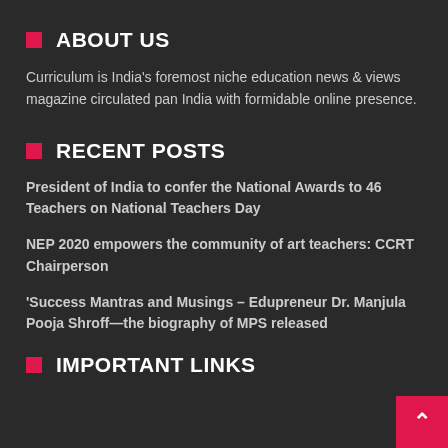ABOUT US
Curriculum is India's foremost niche education news & views magazine circulated pan India with formidable online presence.
RECENT POSTS
President of India to confer the National Awards to 46 Teachers on National Teachers Day
NEP 2020 empowers the community of art teachers: CCRT Chairperson
'Success Mantras and Musings – Edupreneur Dr. Manjula Pooja Shroff—the biography of MPS released
IMPORTANT LINKS